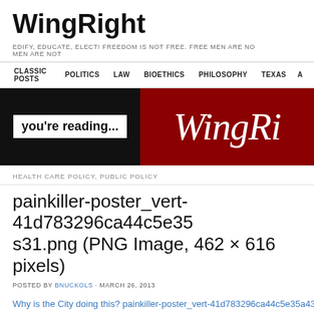WingRight
EDIFY, EDUCATE, ELECT! FREEDOM IS NOT FREE. FREE MEN ARE NO... MEN ARE NOT...
CLASSIC POSTS  POLITICS  LAW  BIOETHICS  PHILOSOPHY  TEXAS  A...
[Figure (screenshot): WingRight blog banner: black left panel with 'you're reading...' text in white box, red right panel with italic WingR... logo text]
HEALTH CARE POLICY, PUBLIC POLICY
painkiller-poster_vert-41d783296ca44c5e35s31.png (PNG Image, 462 × 616 pixels)
POSTED BY BNUCKOLS · MARCH 26, 2013
Why is the City doing this?  painkiller-poster_vert-41d783296ca44c5e35a435dd8...
Share this: